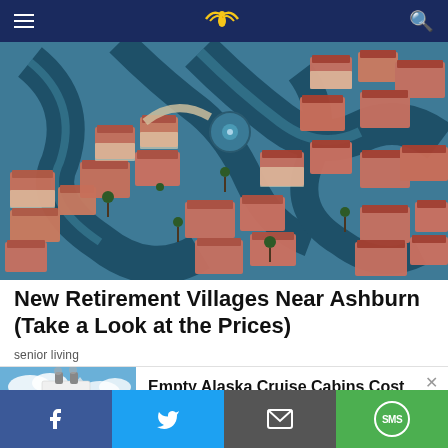Navigation bar with hamburger menu, site logo, search icon
[Figure (photo): Aerial view of a luxury waterfront residential community with terracotta-roofed homes arranged around winding canals and lush tropical landscaping]
New Retirement Villages Near Ashburn (Take a Look at the Prices)
senior living
[Figure (photo): Large cruise ship docked near snowy mountains under a blue sky, representing Alaska cruise deals]
Empty Alaska Cruise Cabins Cost Almost Nothing
Alaska Cruise Deals | sponsored searches | Sponsored
Social share bar: Facebook, Twitter, Email, SMS